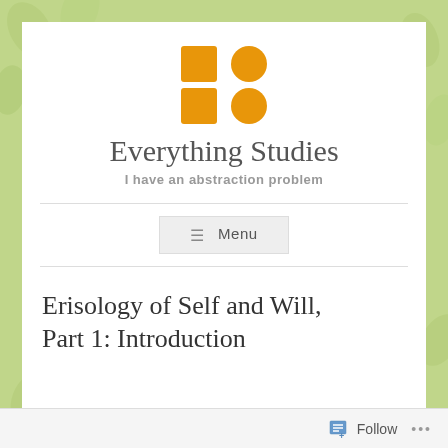[Figure (logo): Four orange shapes arranged in a 2x2 grid: top-left square, top-right circle, bottom-left square, bottom-right circle]
Everything Studies
I have an abstraction problem
≡ Menu
Erisology of Self and Will, Part 1: Introduction
Follow ...